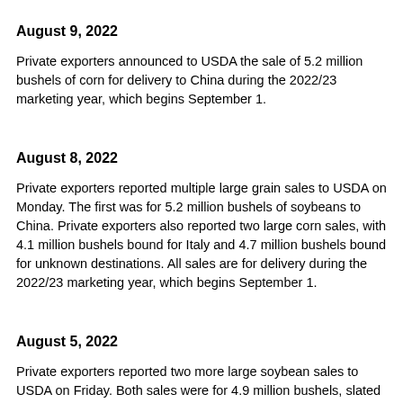August 9, 2022
Private exporters announced to USDA the sale of 5.2 million bushels of corn for delivery to China during the 2022/23 marketing year, which begins September 1.
August 8, 2022
Private exporters reported multiple large grain sales to USDA on Monday. The first was for 5.2 million bushels of soybeans to China. Private exporters also reported two large corn sales, with 4.1 million bushels bound for Italy and 4.7 million bushels bound for unknown destinations. All sales are for delivery during the 2022/23 marketing year, which begins September 1.
August 5, 2022
Private exporters reported two more large soybean sales to USDA on Friday. Both sales were for 4.9 million bushels, slated for